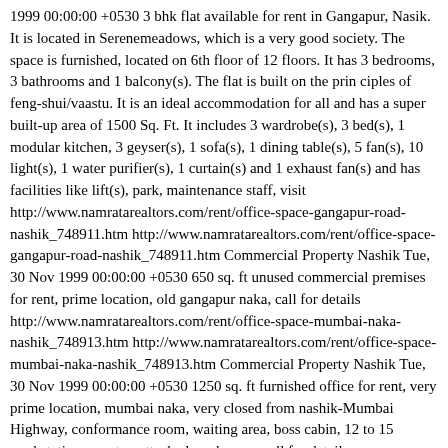1999 00:00:00 +0530 3 bhk flat available for rent in Gangapur, Nasik. It is located in Serenemeadows, which is a very good society. The space is furnished, located on 6th floor of 12 floors. It has 3 bedrooms, 3 bathrooms and 1 balcony(s). The flat is built on the prin ciples of feng-shui/vaastu. It is an ideal accommodation for all and has a super built-up area of 1500 Sq. Ft. It includes 3 wardrobe(s), 3 bed(s), 1 modular kitchen, 3 geyser(s), 1 sofa(s), 1 dining table(s), 5 fan(s), 10 light(s), 1 water purifier(s), 1 curtain(s) and 1 exhaust fan(s) and has facilities like lift(s), park, maintenance staff, visit http://www.namratarealtors.com/rent/office-space-gangapur-road-nashik_748911.htm http://www.namratarealtors.com/rent/office-space-gangapur-road-nashik_748911.htm Commercial Property Nashik Tue, 30 Nov 1999 00:00:00 +0530 650 sq. ft unused commercial premises for rent, prime location, old gangapur naka, call for details http://www.namratarealtors.com/rent/office-space-mumbai-naka-nashik_748913.htm http://www.namratarealtors.com/rent/office-space-mumbai-naka-nashik_748913.htm Commercial Property Nashik Tue, 30 Nov 1999 00:00:00 +0530 1250 sq. ft furnished office for rent, very prime location, mumbai naka, very closed from nashik-Mumbai Highway, conformance room, waiting area, boss cabin, 12 to 15 workstations, pantry, attached washroom, call for details http://www.namratarealtors.com/rent/showrooms-nashik_748914.htm